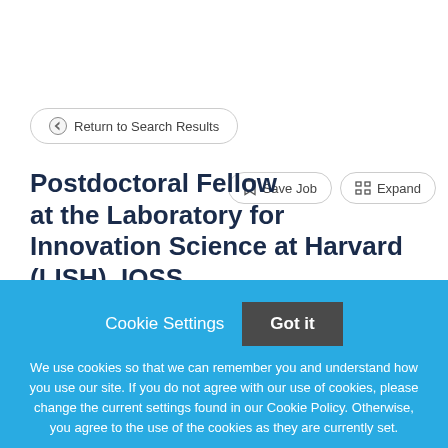Return to Search Results
Postdoctoral Fellow at the Laboratory for Innovation Science at Harvard (LISH), IQSS
Harvard University
Cookie Settings
Got it
We use cookies so that we can remember you and understand how you use our site. If you do not agree with our use of cookies, please change the current settings found in our Cookie Policy. Otherwise, you agree to the use of the cookies as they are currently set.